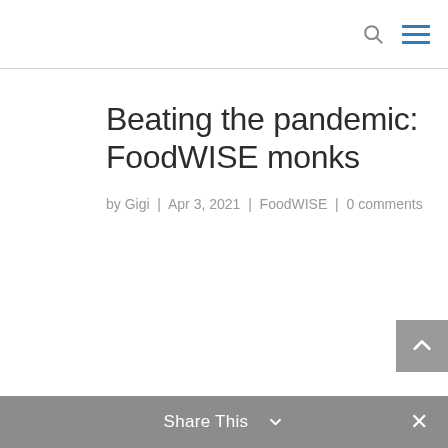[search icon] [menu icon]
Beating the pandemic: FoodWISE monks
by Gigi | Apr 3, 2021 | FoodWISE | 0 comments
Share This ∨  ✕